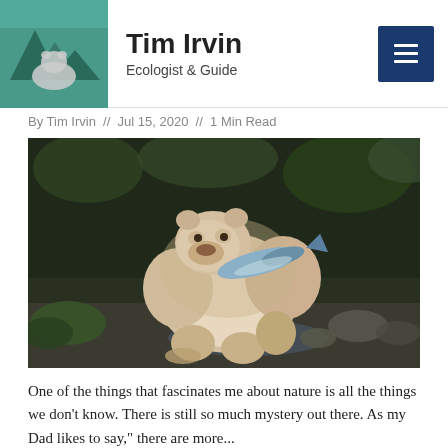Tim Irvin — Ecologist & Guide
By Tim Irvin // Jul 15, 2020 // 1 Min Read
[Figure (photo): A white (Kermode/Spirit) bear holding a large salmon in its mouth, standing on mossy rocks beside a river in a forested environment.]
One of the things that fascinates me about nature is all the things we don't know. There is still so much mystery out there. As my Dad likes to say," there are more...